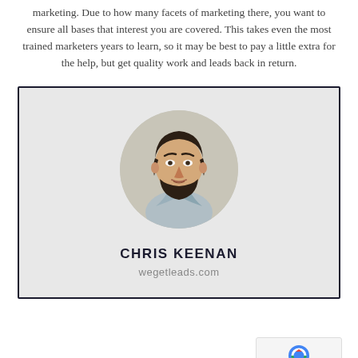marketing. Due to how many facets of marketing there, you want to ensure all bases that interest you are covered. This takes even the most trained marketers years to learn, so it may be best to pay a little extra for the help, but get quality work and leads back in return.
[Figure (photo): Author card with circular headshot photo of Chris Keenan, a man with dark hair and beard wearing a light blue shirt, on a light grey background with dark border.]
CHRIS KEENAN
wegetleads.com